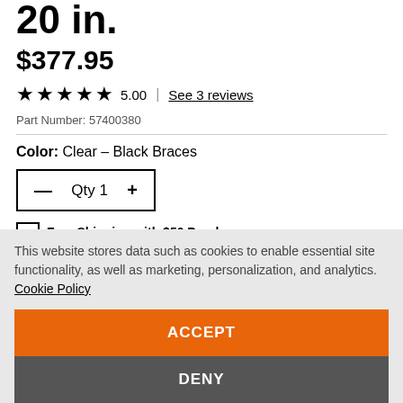20 in.
$377.95
★★★★★ 5.00 | See 3 reviews
Part Number: 57400380
Color: Clear – Black Braces
— Qty 1 +
Free Shipping with $50 Purchase
This website stores data such as cookies to enable essential site functionality, as well as marketing, personalization, and analytics. Cookie Policy
ACCEPT
DENY